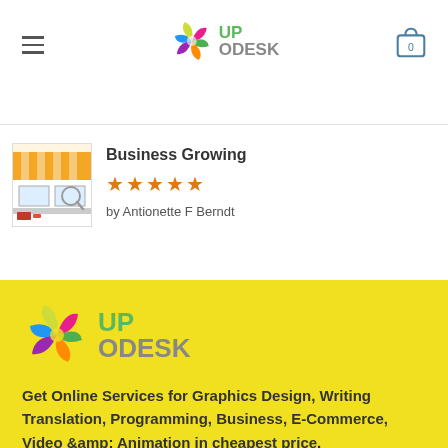[Figure (logo): UpOdesk logo with colorful pinwheel icon and text UP ODESK in header]
Business Growing
★★★★★
by Antionette F Berndt
[Figure (logo): UpOdesk logo large on yellow background]
Get Online Services for Graphics Design, Writing Translation, Programming, Business, E-Commerce, Video &amp; Animation in cheapest price.